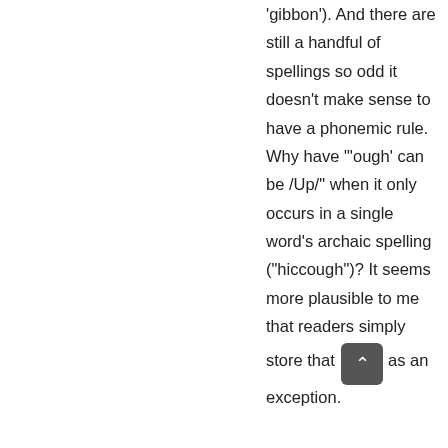'gibbon'). And there are still a handful of spellings so odd it doesn't make sense to have a phonemic rule. Why have "'ough' can be /Up/" when it only occurs in a single word's archaic spelling ("hiccough")? It seems more plausible to me that readers simply store that as an exception.